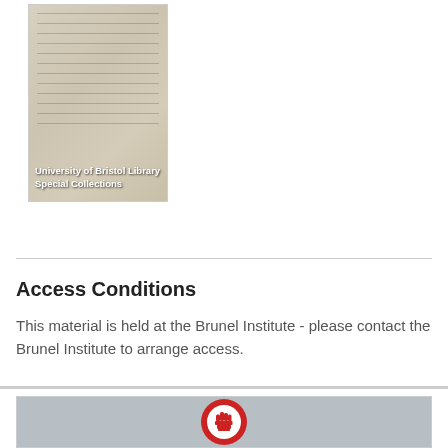[Figure (photo): Photo of a handwritten document from the University of Bristol Library Special Collections, with white overlay text reading 'University of Bristol Library Special Collections']
Access Conditions
This material is held at the Brunel Institute - please contact the Brunel Institute to arrange access.
[Figure (photo): A round white badge/button with a red raised fist inside a circle, symbol of solidarity/protest, on a light blue-grey background]